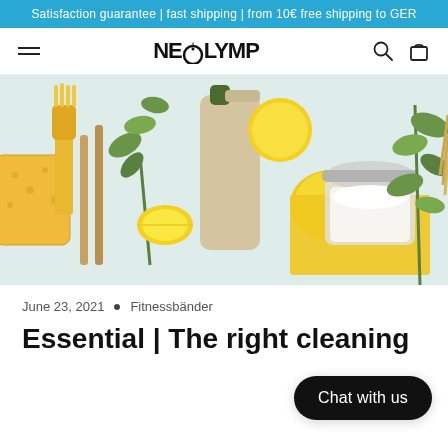Satisfaction guarantee | fast shipping | from 10€ free shipping to GER
[Figure (logo): NEOLYMP logo with flame icon above the O, navigation bar with hamburger menu, search icon, and cart icon]
[Figure (photo): Flat lay of eco-friendly cleaning supplies including yellow sponge, brush, spray bottle, lemons, baking soda in a jar, and green plant sprigs on a white background]
June 23, 2021  •  Fitnessbänder
Essential | The right cleaning